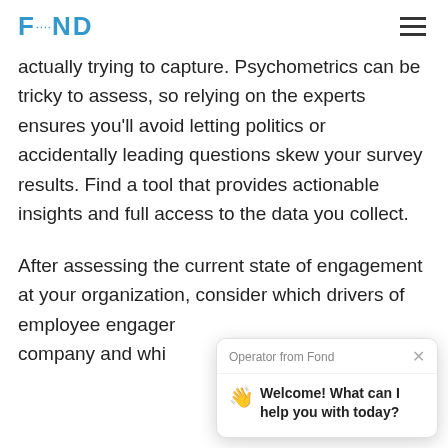FOND
actually trying to capture. Psychometrics can be tricky to assess, so relying on the experts ensures you'll avoid letting politics or accidentally leading questions skew your survey results. Find a tool that provides actionable insights and full access to the data you collect.
After assessing the current state of engagement at your organization, consider which drivers of employee engagement are unique to your company and whi... where the progres...
[Figure (screenshot): Chat popup overlay from Fond operator with message: Welcome! What can I help you with today?]